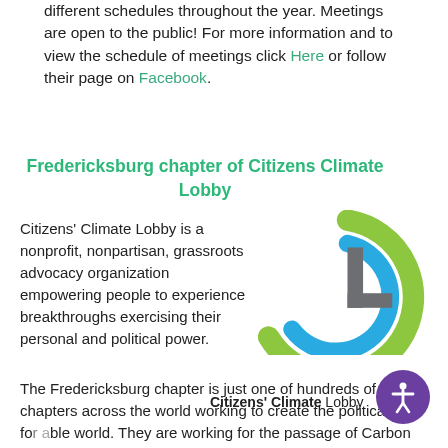different schedules throughout the year. Meetings are open to the public! For more information and to view the schedule of meetings click Here or follow their page on Facebook.
Fredericksburg chapter of Citizens Climate Lobby
Citizens' Climate Lobby is a nonprofit, nonpartisan, grassroots advocacy organization empowering people to experience breakthroughs exercising their personal and political power.
[Figure (logo): Citizens' Climate Lobby logo with green and blue arc shapes and a grey letter L, with text 'Citizens' Climate Lobby' below]
The Fredericksburg chapter is just one of hundreds of chapters across the world working to create the political will for a able world. They are working for the passage of Carbon Fe Dividend, the climate change solution economists and e scientists alike say is the "best first-step" to preventing the worst